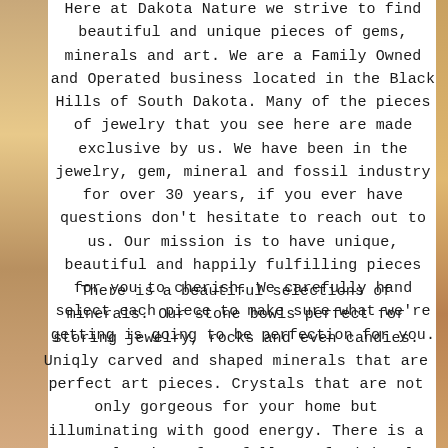Here at Dakota Nature we strive to find beautiful and unique pieces of gems, minerals and art. We are a Family Owned and Operated business located in the Black Hills of South Dakota. Many of the pieces of jewelry that you see here are made exclusive by us. We have been in the jewelry, gem, mineral and fossil industry for over 30 years, if you ever have questions don't hesitate to reach out to us. Our mission is to have unique, beautiful and happily fulfilling pieces for you to cherish. We carefully hand select each piece to make sure what we're getting is going to be perfection for you.
There is a beautiful selections of minerals. Our stone bowls perfect for storing jewelry, rocks and even candies. Uniqly carved and shaped minerals that are perfect art pieces. Crystals that are not only gorgeous for your home but illuminating with good energy. There is a great selection of Artfully crafted jewelry pieces that not only look amazing but they feel just as perfect to